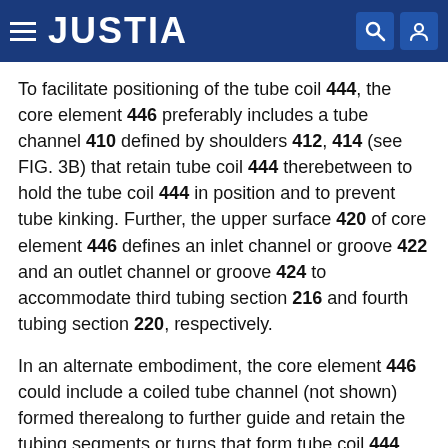JUSTIA
To facilitate positioning of the tube coil 444, the core element 446 preferably includes a tube channel 410 defined by shoulders 412, 414 (see FIG. 3B) that retain tube coil 444 therebetween to hold the tube coil 444 in position and to prevent tube kinking. Further, the upper surface 420 of core element 446 defines an inlet channel or groove 422 and an outlet channel or groove 424 to accommodate third tubing section 216 and fourth tubing section 220, respectively.
In an alternate embodiment, the core element 446 could include a coiled tube channel (not shown) formed therealong to further guide and retain the tubing segments or turns that form tube coil 444 between shoulders 412, 414.
The core element 446 preferably is self-centering when